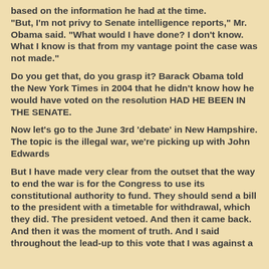based on the information he had at the time. "But, I'm not privy to Senate intelligence reports," Mr. Obama said. "What would I have done? I don't know. What I know is that from my vantage point the case was not made."
Do you get that, do you grasp it? Barack Obama told the New York Times in 2004 that he didn't know how he would have voted on the resolution HAD HE BEEN IN THE SENATE.
Now let's go to the June 3rd 'debate' in New Hampshire. The topic is the illegal war, we're picking up with John Edwards
But I have made very clear from the outset that the way to end the war is for the Congress to use its constitutional authority to fund. They should send a bill to the president with a timetable for withdrawal, which they did. The president vetoed. And then it came back. And then it was the moment of truth. And I said throughout the lead-up to this vote that I was against a